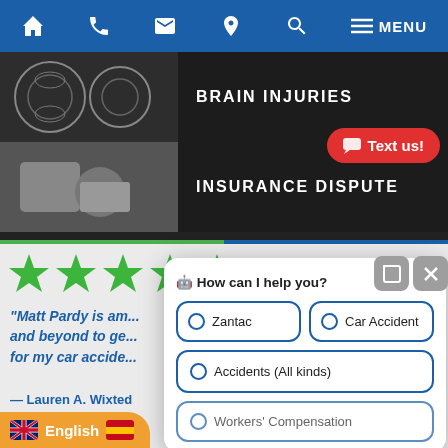Navigation bar with home, phone, email, location, search, menu icons
BRAIN INJURIES
INSURANCE DISPUTE
Text us!
[Figure (screenshot): Five green stars rating]
“Matt Pardy is am... and beyond to ge... for my car accide...
— Lauren A. Wixted
[Figure (screenshot): Chatbot popup: How can I help you? with options: Zantac, Car Accident, Accidents (All kinds), Workers' Compensation]
English
[Figure (screenshot): Language flag buttons: UK flag and Spanish flag]